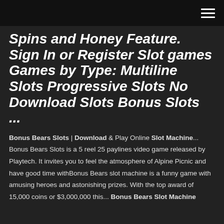Navigation menu header bar
Spins and Honey Feature. Sign In or Register Slot games Games by Type: Multiline Slots Progressive Slots No Download Slots Bonus Slots ...
Bonus Bears Slots | Download & Play Online Slot Machine... Bonus Bears Slots is a 5 reel 25 paylines video game released by Playtech. It invites you to feel the atmosphere of Alpine Picnic and have good time withBonus Bears slot machine is a funny game with amusing heroes and astonishing prizes. With the top award of 15,000 coins or $3,000,000 this... Bonus Bears Slot Machine